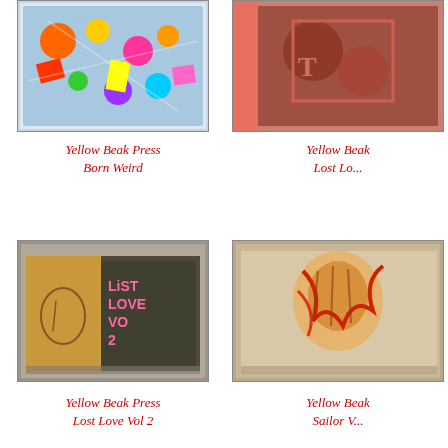[Figure (photo): Book cover: Yellow Beak Press - Born Weird, colorful cartoon illustration]
Yellow Beak Press
Born Weird
[Figure (photo): Book cover: Yellow Beak Press - Lost Lo... (partially visible), red toned cover]
Yellow Beak
Lost Lo...
[Figure (photo): Book cover: Yellow Beak Press - Lost Love Vol 2, pink letters on dark cover]
Yellow Beak Press
Lost Love Vol 2
[Figure (photo): Book cover: Yellow Beak Press - Sailor V..., tiger/animal illustration]
Yellow Beak
Sailor V...